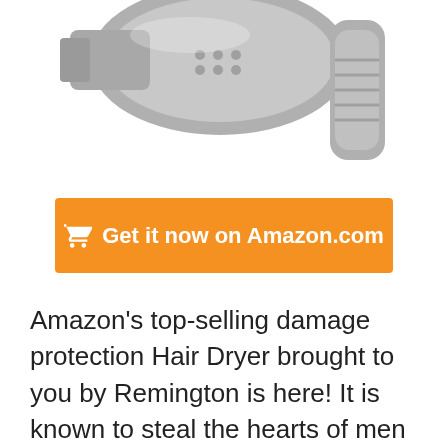[Figure (photo): Partial image of a gray/silver hair dryer shown from above against a white background, with the body and handle visible.]
[Figure (other): Orange button with shopping cart icon and text 'Get it now on Amazon.com' in white bold font.]
Amazon's top-selling damage protection Hair Dryer brought to you by Remington is here! It is known to steal the hearts of men and women alike, paving its way through millions of households all thanks to its triple protection technology coupled with micro moisturization